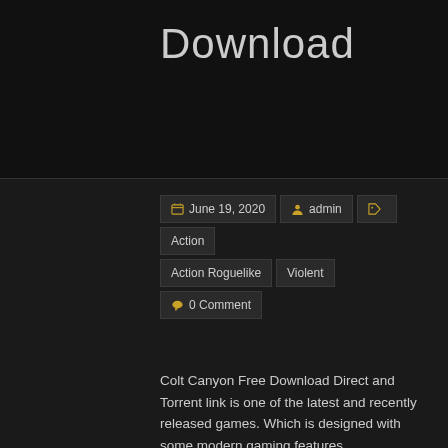Download
June 19, 2020  admin  Action  Action Roguelike  Violent  0 Comment
Colt Canyon Free Download Direct and Torrent link is one of the latest and recently released games. Which is designed with some modern gaming features.